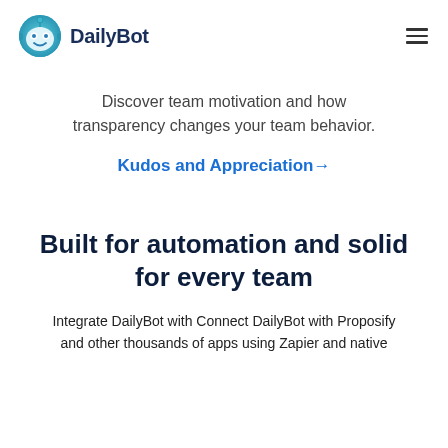DailyBot
Discover team motivation and how transparency changes your team behavior.
Kudos and Appreciation →
Built for automation and solid for every team
Integrate DailyBot with Connect DailyBot with Proposify and other thousands of apps using Zapier and native